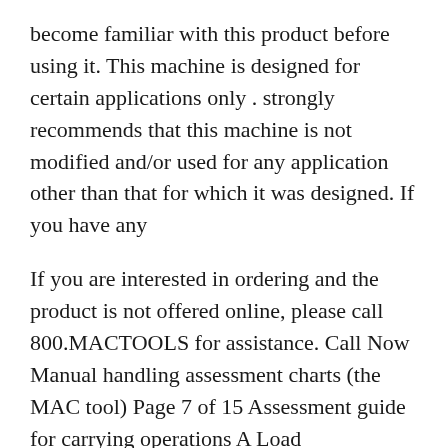become familiar with this product before using it. This machine is designed for certain applications only . strongly recommends that this machine is not modified and/or used for any application other than that for which it was designed. If you have any
If you are interested in ordering and the product is not offered online, please call 800.MACTOOLS for assistance. Call Now Manual handling assessment charts (the MAC tool) Page 7 of 15 Assessment guide for carrying operations A Load weight/frequency Note the weight of the load and the frequency of the carrying operation. Take note of the risk banding on the graph below and enter the colour band and numerical